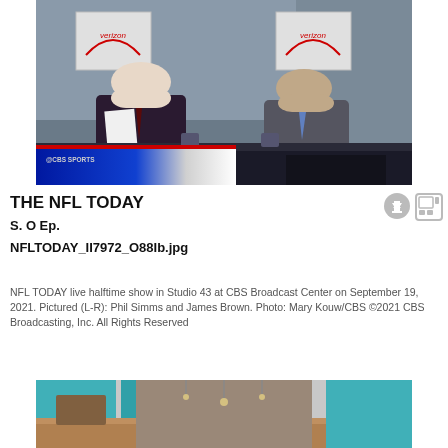[Figure (photo): Two men (Phil Simms and James Brown) sitting at a studio desk on the NFL TODAY set at CBS Broadcast Center, with Verizon logos visible behind them and CBS Sports branding visible at the bottom of the image.]
THE NFL TODAY
S. O  Ep.
NFLTODAY_II7972_O88Ib.jpg
NFL TODAY live halftime show in Studio 43 at CBS Broadcast Center on September 19, 2021. Pictured (L-R): Phil Simms and James Brown. Photo: Mary Kouw/CBS ©2021 CBS Broadcasting, Inc. All Rights Reserved
[Figure (photo): Empty studio set with teal/turquoise accent lighting and wooden desk area, viewed from the front.]